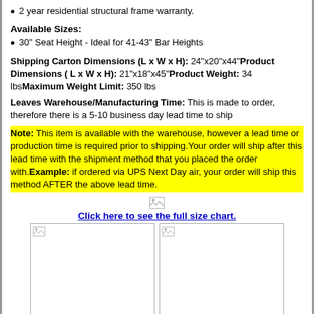2 year residential structural frame warranty.
Available Sizes:
30" Seat Height - Ideal for 41-43" Bar Heights
Shipping Carton Dimensions (L x W x H): 24"x20"x44"Product Dimensions ( L x W x H): 21"x18"x45"Product Weight: 34 lbsMaximum Weight Limit: 350 lbs
Leaves Warehouse/Manufacturing Time: This is made to order, therefore there is a 5-10 business day lead time to ship
Note: This item is available with the warehouse, however a lead time or production time is required prior to shipping.Your order will ship after this lead time with the shipment method that you placed the order with.Example: if ordered via UPS Next Day air, your order will ship this method AFTER the above lead time.
[Figure (other): Small broken image icon above the size chart link]
Click here to see the full size chart.
[Figure (photo): Two image placeholders side by side showing broken image icons]